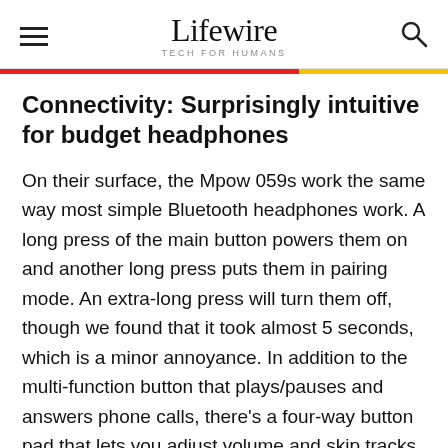Lifewire — TECH FOR HUMANS
Connectivity: Surprisingly intuitive for budget headphones
On their surface, the Mpow 059s work the same way most simple Bluetooth headphones work. A long press of the main button powers them on and another long press puts them in pairing mode. An extra-long press will turn them off, though we found that it took almost 5 seconds, which is a minor annoyance. In addition to the multi-function button that plays/pauses and answers phone calls, there's a four-way button pad that lets you adjust volume and skip tracks. This setup